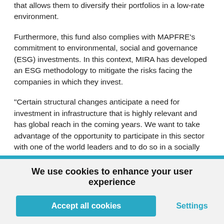that allows them to diversify their portfolios in a low-rate environment.
Furthermore, this fund also complies with MAPFRE's commitment to environmental, social and governance (ESG) investments. In this context, MIRA has developed an ESG methodology to mitigate the risks facing the companies in which they invest.
"Certain structural changes anticipate a need for investment in infrastructure that is highly relevant and has global reach in the coming years. We want to take advantage of the opportunity to participate in this sector with one of the world leaders and to do so in a socially responsible fashion," says José Luis Jiménez, MAPFRE's Group Chief Investment Officer.
We use cookies to enhance your user experience
Accept all cookies
Settings